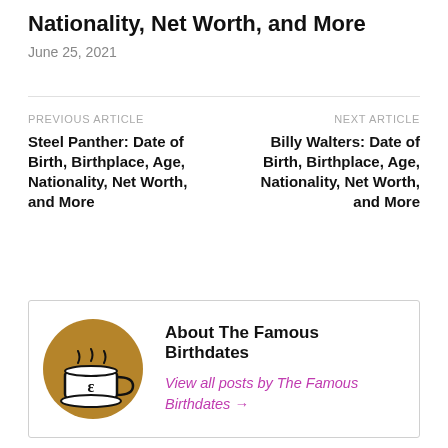Nationality, Net Worth, and More
June 25, 2021
PREVIOUS ARTICLE
Steel Panther: Date of Birth, Birthplace, Age, Nationality, Net Worth, and More
NEXT ARTICLE
Billy Walters: Date of Birth, Birthplace, Age, Nationality, Net Worth, and More
[Figure (logo): Round brown circle with a coffee cup icon (steam rising, letter E on cup)]
About The Famous Birthdates
View all posts by The Famous Birthdates →